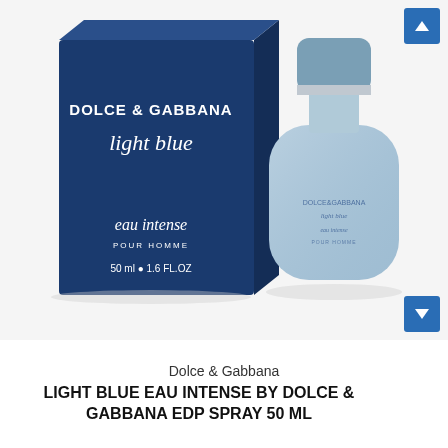[Figure (photo): Dolce & Gabbana Light Blue Eau Intense Pour Homme perfume bottle (frosted blue glass, silver cap) next to its dark navy blue box labeled 'DOLCE & GABBANA light blue eau intense pour homme 50ml · 1.6 FL.OZ']
Dolce & Gabbana
LIGHT BLUE EAU INTENSE BY DOLCE & GABBANA EDP SPRAY 50 ML